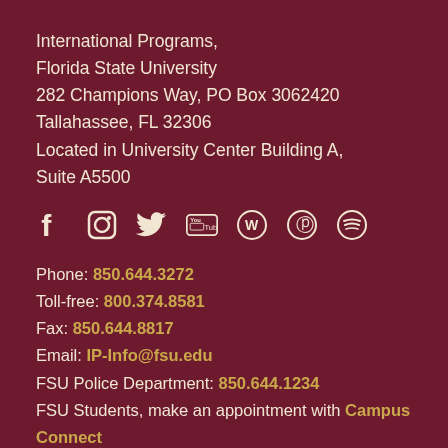International Programs,
Florida State University
282 Champions Way, PO Box 3062420
Tallahassee, FL 32306
Located in University Center Building A, Suite A5500
[Figure (other): Social media icons: Facebook, Instagram, Twitter, YouTube, WordPress, Pinterest, Spotify]
Phone: 850.644.3272
Toll-free: 800.374.8581
Fax: 850.644.8817
Email: IP-Info@fsu.edu
FSU Police Department: 850.644.1234
FSU Students, make an appointment with Campus Connect
Insurance Information